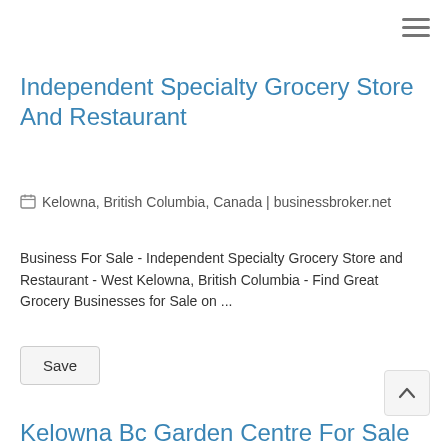[Figure (other): Hamburger menu icon (three horizontal lines) in top-right corner]
Independent Specialty Grocery Store And Restaurant
📅 Kelowna, British Columbia, Canada | businessbroker.net
Business For Sale - Independent Specialty Grocery Store and Restaurant - West Kelowna, British Columbia - Find Great Grocery Businesses for Sale on ...
Save
Kelowna Bc Garden Centre For Sale